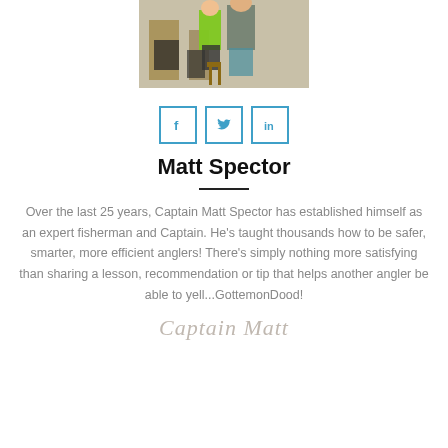[Figure (photo): Photo of people (children and adult) in a boat cabin/interior, partially cropped at top of page]
[Figure (infographic): Three social media share buttons: Facebook (f), Twitter (bird), LinkedIn (in), each in a square blue-bordered box]
Matt Spector
Over the last 25 years, Captain Matt Spector has established himself as an expert fisherman and Captain. He's taught thousands how to be safer, smarter, more efficient anglers! There's simply nothing more satisfying than sharing a lesson, recommendation or tip that helps another angler be able to yell...GottemonDood!
[Figure (illustration): Cursive signature reading 'Captain Matt' in light pinkish/beige color]